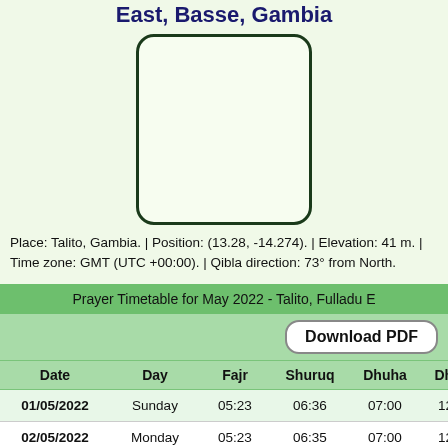East, Basse, Gambia
[Figure (other): Empty rounded rectangle box, likely placeholder for QR code]
Place: Talito, Gambia. | Position: (13.28, -14.274). | Elevation: 41 m. | Time zone: GMT (UTC +00:00). | Qibla direction: 73° from North.
Prayer Timetable for May 2022 - Talito, Fulladu E
| Date | Day | Fajr | Shuruq | Dhuha | Dhuhr | 'A |
| --- | --- | --- | --- | --- | --- | --- |
| 01/05/2022 | Sunday | 05:23 | 06:36 | 07:00 | 12:58 | 1 |
| 02/05/2022 | Monday | 05:23 | 06:35 | 07:00 | 12:58 | 1 |
| 03/05/2022 | Tuesday | 05:22 | 06:35 | 07:00 | 12:58 | 1 |